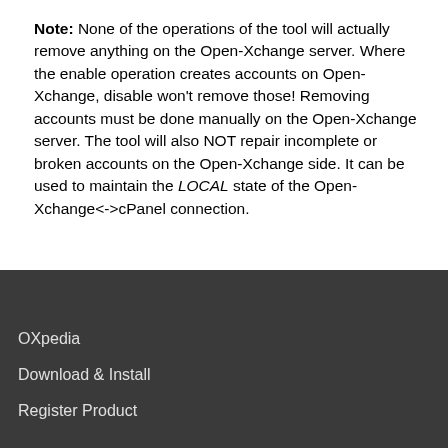Note: None of the operations of the tool will actually remove anything on the Open-Xchange server. Where the enable operation creates accounts on Open-Xchange, disable won't remove those! Removing accounts must be done manually on the Open-Xchange server. The tool will also NOT repair incomplete or broken accounts on the Open-Xchange side. It can be used to maintain the LOCAL state of the Open-Xchange<->cPanel connection.
OXpedia
Download & Install
Register Product